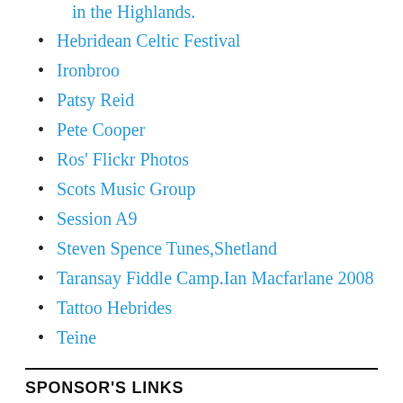in the Highlands.
Hebridean Celtic Festival
Ironbroo
Patsy Reid
Pete Cooper
Ros' Flickr Photos
Scots Music Group
Session A9
Steven Spence Tunes,Shetland
Taransay Fiddle Camp.Ian Macfarlane 2008
Tattoo Hebrides
Teine
SPONSOR'S LINKS